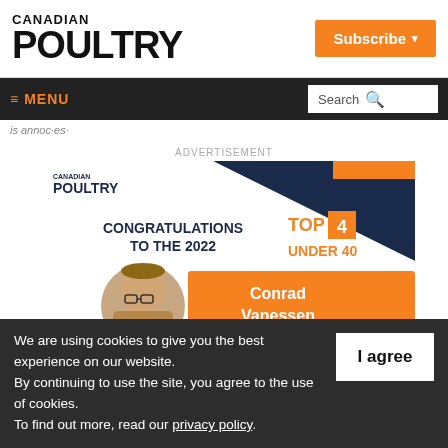CANADIAN POULTRY
Subscribe
≡ MENU
Search
is annoctes
ADVERTISEMENT
[Figure (illustration): Canadian Poultry advertisement banner congratulating the 2022 Top 4 Under 40 winners, featuring Conrad Vanessen with his photo in a circular frame on an orange background.]
We are using cookies to give you the best experience on our website.
By continuing to use the site, you agree to the use of cookies.
To find out more, read our privacy policy.